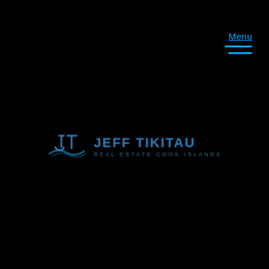Menu
[Figure (logo): Jeff Tikitau Real Estate Cook Islands logo with JT monogram and wave graphic, cyan/blue color scheme on black background]